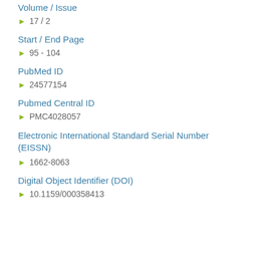Volume / Issue
17 / 2
Start / End Page
95 - 104
PubMed ID
24577154
Pubmed Central ID
PMC4028057
Electronic International Standard Serial Number (EISSN)
1662-8063
Digital Object Identifier (DOI)
10.1159/000358413